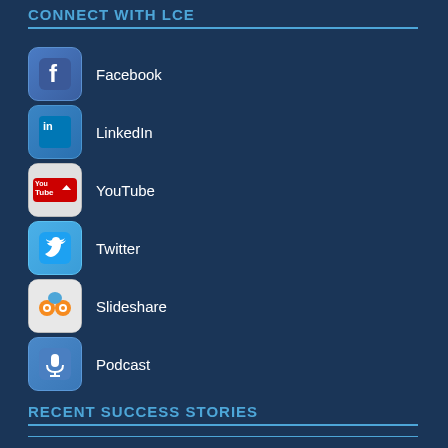CONNECT WITH LCE
Facebook
LinkedIn
YouTube
Twitter
Slideshare
Podcast
RECENT SUCCESS STORIES
LCE Helps a Food Processing Plant Build a Preventive and Predictive Maintenance Program
A New Reliability Engineer Applies REC Knowledge to Reduce Downtime and Maintenance Costs
An Aluminum Cast House Throughput Study Identifies Strategies to Improve Output by 13%